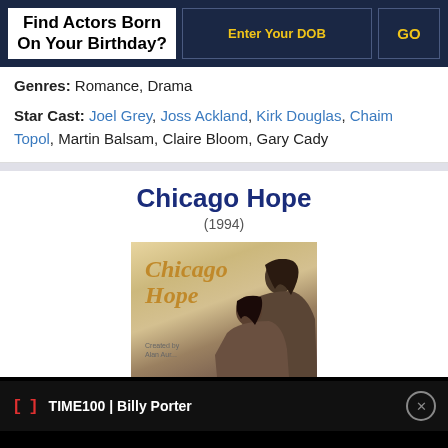Find Actors Born On Your Birthday? | Enter Your DOB | GO
Genres: Romance, Drama
Star Cast: Joel Grey, Joss Ackland, Kirk Douglas, Chaim Topol, Martin Balsam, Claire Bloom, Gary Cady
Chicago Hope
(1994)
[Figure (photo): Chicago Hope movie poster showing two women and title text in golden-brown serif font on a warm-toned background]
TIME100 | Billy Porter